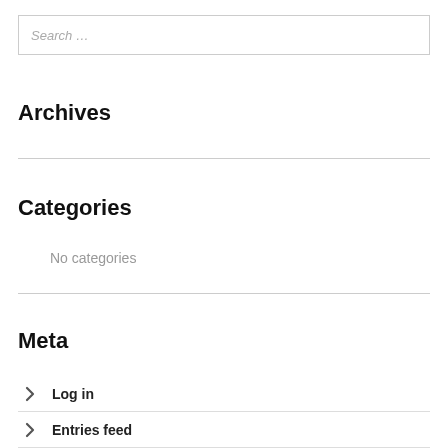Search …
Archives
Categories
No categories
Meta
Log in
Entries feed